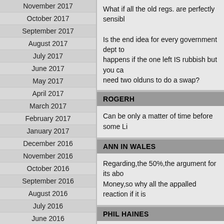November 2017
October 2017
September 2017
August 2017
July 2017
June 2017
May 2017
April 2017
March 2017
February 2017
January 2017
December 2016
November 2016
October 2016
September 2016
August 2016
July 2016
June 2016
May 2016
April 2016
March 2016
February 2016
What if all the old regs. are perfectly sensibl…
ROGERH
Can be only a matter of time before some Li…
ANN IN WALES
Regarding,the 50%,the argument for its abo… Money,so why all the appalled reaction if it is…
PHIL HAINES
@NickP